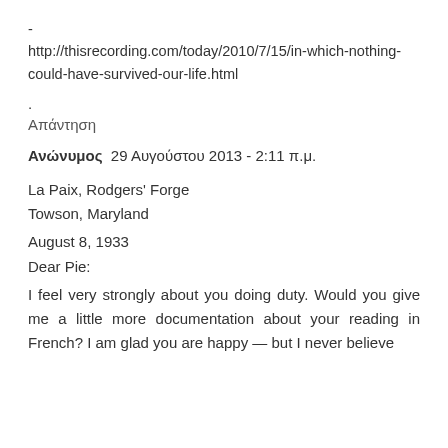- http://thisrecording.com/today/2010/7/15/in-which-nothing-could-have-survived-our-life.html
.
Απάντηση
Ανώνυμος 29 Αυγούστου 2013 - 2:11 π.μ.
La Paix, Rodgers' Forge
Towson, Maryland
August 8, 1933
Dear Pie:
I feel very strongly about you doing duty. Would you give me a little more documentation about your reading in French? I am glad you are happy — but I never believe